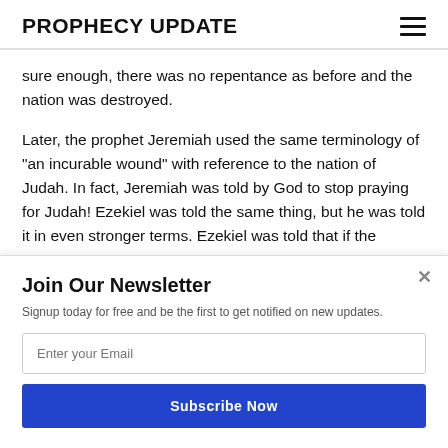PROPHECY UPDATE
sure enough, there was no repentance as before and the nation was destroyed.
Later, the prophet Jeremiah used the same terminology of "an incurable wound" with reference to the nation of Judah. In fact, Jeremiah was told by God to stop praying for Judah! Ezekiel was told the same thing, but he was told it in even stronger terms. Ezekiel was told that if the
Join Our Newsletter
Signup today for free and be the first to get notified on new updates.
Enter your Email
Subscribe Now